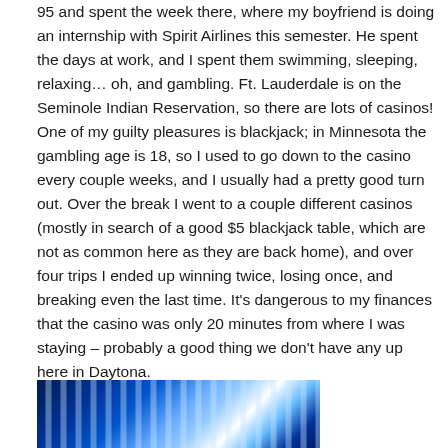95 and spent the week there, where my boyfriend is doing an internship with Spirit Airlines this semester. He spent the days at work, and I spent them swimming, sleeping, relaxing… oh, and gambling. Ft. Lauderdale is on the Seminole Indian Reservation, so there are lots of casinos! One of my guilty pleasures is blackjack; in Minnesota the gambling age is 18, so I used to go down to the casino every couple weeks, and I usually had a pretty good turn out. Over the break I went to a couple different casinos (mostly in search of a good $5 blackjack table, which are not as common here as they are back home), and over four trips I ended up winning twice, losing once, and breaking even the last time. It's dangerous to my finances that the casino was only 20 minutes from where I was staying – probably a good thing we don't have any up here in Daytona.
[Figure (photo): Partial view of a photo showing blue light streaks or rays, possibly an aurora or light effect image, against a dark background.]